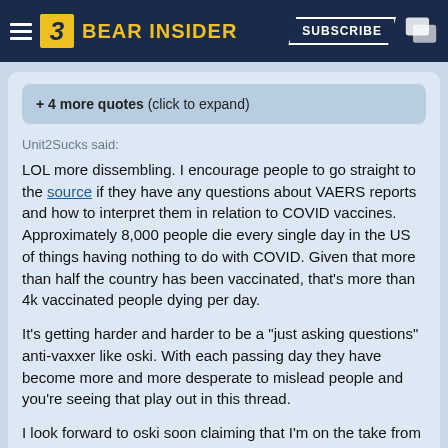BEAR INSIDER — SUBSCRIBE
+ 4 more quotes (click to expand)
Unit2Sucks said:
LOL more dissembling. I encourage people to go straight to the source if they have any questions about VAERS reports and how to interpret them in relation to COVID vaccines. Approximately 8,000 people die every single day in the US of things having nothing to do with COVID. Given that more than half the country has been vaccinated, that's more than 4k vaccinated people dying per day.

It's getting harder and harder to be a "just asking questions" anti-vaxxer like oski. With each passing day they have become more and more desperate to mislead people and you're seeing that play out in this thread.

I look forward to oski soon claiming that I'm on the take from big pharma or Fauci as he finds it more and more difficult to combat the actual efficacy and safety data.